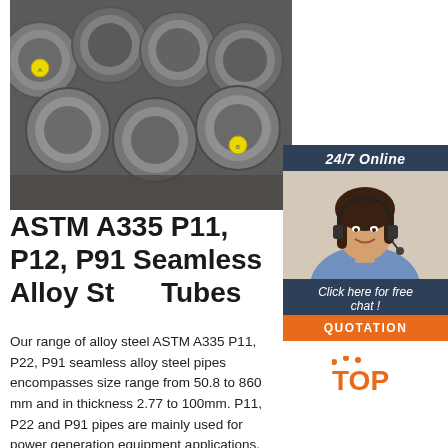[Figure (photo): Photograph of steel pipe/rod ends stacked together, viewed from the cut ends. Several pipes have yellow circular labels on them. The rods are metallic grey with rough cut surfaces.]
ASTM A335 P11, P12, P91 Seamless Alloy Steel Tubes
[Figure (photo): Online support agent: a woman wearing a headset smiling, with '24/7 Online' header and 'Click here for free chat!' and QUOTATION button overlay.]
Our range of alloy steel ASTM A335 P11, P22, P91 seamless alloy steel pipes encompasses size range from 50.8 to 860 mm and in thickness 2.77 to 100mm. P11, P22 and P91 pipes are mainly used for power generation equipment applications. The specifcation ASTM A335/ASME SA335 covers seamless ferritic alloy-steel pipe for high-temperature service.